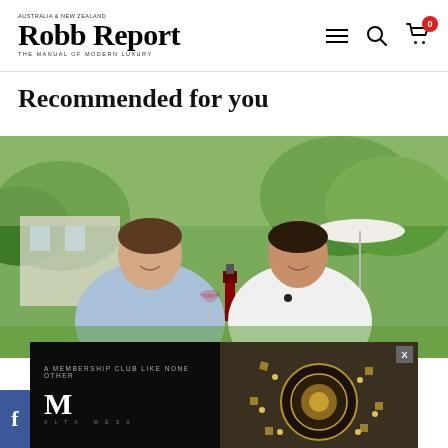Robb Report Australia & New Zealand — THE MANUAL OF MODERN LUXURY
Recommended for you
[Figure (photo): Two men sitting outdoors on a sunny day, smiling and conversing. The man on the left holds a glass of red wine and wears a light blue shirt; the man on the right wears a white shirt. A wine bottle is on the table between them. Green trees and a white umbrella are visible in the background.]
[Figure (advertisement): Dark-themed advertisement with left panel showing 'A MEMBERSHIP CLUB LIKE NONE OTHER' tagline and stylized M logo, and right panel showing an aerial view of a luxury venue or garden. An X close button is visible in the top-right corner.]